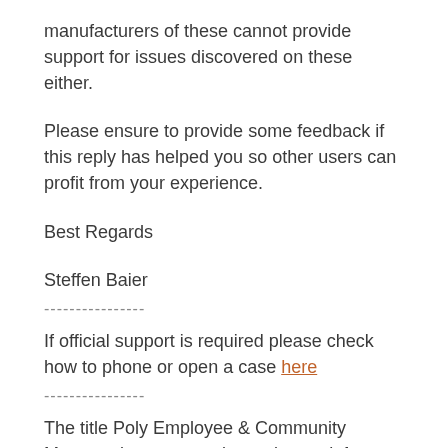manufacturers of these cannot provide support for issues discovered on these either.
Please ensure to provide some feedback if this reply has helped you so other users can profit from your experience.
Best Regards
Steffen Baier
----------------
If official support is required please check how to phone or open a case here
----------------
The title Poly Employee & Community Manager is a community setting and does not reflect my role. I am just a simple volunteer in the community like everybody else. All posts and